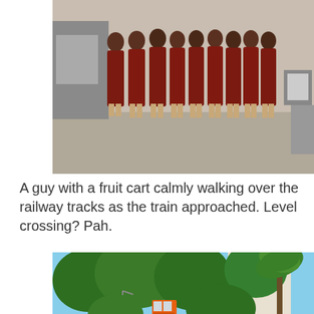[Figure (photo): A line of monks in dark red robes walking along a street, with a vehicle visible on the left side and a sign on the right side.]
A guy with a fruit cart calmly walking over the railway tracks as the train approached. Level crossing? Pah.
[Figure (photo): A railway track stretching into the distance surrounded by lush green trees on both sides. An orange and white train is visible approaching in the middle distance. Buildings are visible on the right side.]